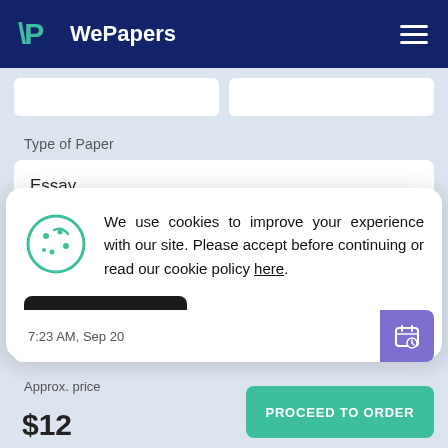WePapers
Type of Paper
Essay
We use cookies to improve your experience with our site. Please accept before continuing or read our cookie policy here.
ACCEPT
7:23 AM, Sep 20
Approx. price
$12
PROCEED TO ORDER